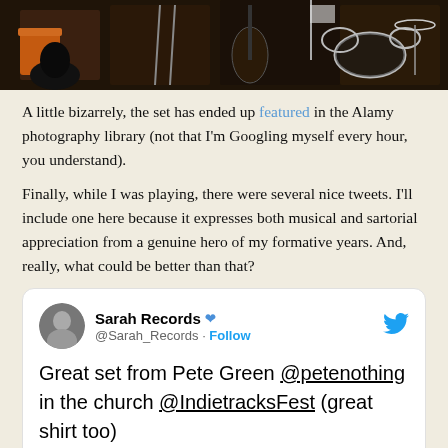[Figure (photo): A dark photograph showing musical instruments including a drum set in what appears to be a church or venue setting]
A little bizarrely, the set has ended up featured in the Alamy photography library (not that I'm Googling myself every hour, you understand).
Finally, while I was playing, there were several nice tweets. I'll include one here because it expresses both musical and sartorial appreciation from a genuine hero of my formative years. And, really, what could be better than that?
Sarah Records @Sarah_Records · Follow
Great set from Pete Green @petenothing in the church @IndietracksFest (great shirt too)